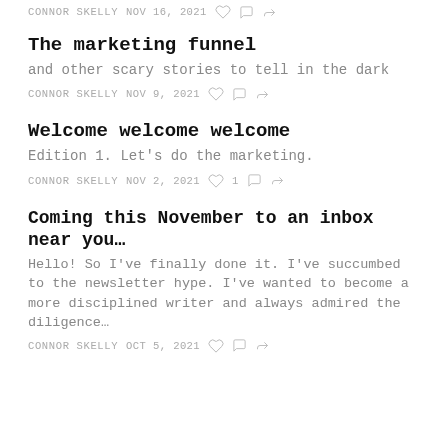CONNOR SKELLY   NOV 16, 2021
The marketing funnel
and other scary stories to tell in the dark
CONNOR SKELLY   NOV 9, 2021
Welcome welcome welcome
Edition 1. Let's do the marketing.
CONNOR SKELLY   NOV 2, 2021   ♡ 1
Coming this November to an inbox near you…
Hello! So I've finally done it. I've succumbed to the newsletter hype. I've wanted to become a more disciplined writer and always admired the diligence…
CONNOR SKELLY   OCT 5, 2021